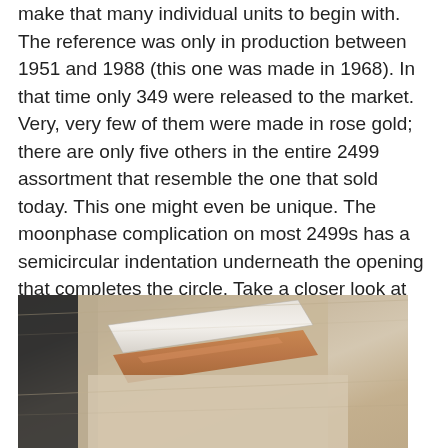make that many individual units to begin with. The reference was only in production between 1951 and 1988 (this one was made in 1968). In that time only 349 were released to the market. Very, very few of them were made in rose gold; there are only five others in the entire 2499 assortment that resemble the one that sold today. This one might even be unique. The moonphase complication on most 2499s has a semicircular indentation underneath the opening that completes the circle. Take a closer look at the dial and you'll notice it's completely flat.
[Figure (photo): Close-up photo of what appears to be a watch strap or band resting on a textured fabric surface, showing tan/brown leather and light-colored material against a beige/grey woven textile background.]